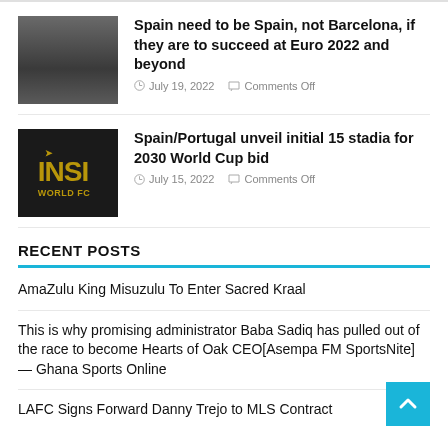[Figure (photo): Thumbnail photo of people at a sports event]
Spain need to be Spain, not Barcelona, if they are to succeed at Euro 2022 and beyond
July 19, 2022   Comments Off
[Figure (logo): Inside World FC logo - dark background with golden INSI text and WORLD FC text below]
Spain/Portugal unveil initial 15 stadia for 2030 World Cup bid
July 15, 2022   Comments Off
RECENT POSTS
AmaZulu King Misuzulu To Enter Sacred Kraal
This is why promising administrator Baba Sadiq has pulled out of the race to become Hearts of Oak CEO[Asempa FM SportsNite] — Ghana Sports Online
LAFC Signs Forward Danny Trejo to MLS Contract